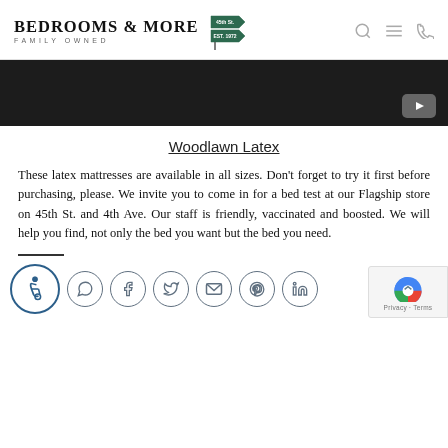BEDROOMS & MORE — FAMILY OWNED
[Figure (screenshot): Dark video player area with YouTube play button in bottom right]
Woodlawn Latex
These latex mattresses are available in all sizes. Don't forget to try it first before purchasing, please. We invite you to come in for a bed test at our Flagship store on 45th St. and 4th Ave. Our staff is friendly, vaccinated and boosted. We will help you find, not only the bed you want but the bed you need.
[Figure (infographic): Footer row with accessibility icon and social media icons: WhatsApp, Facebook, Twitter, Email, Pinterest, LinkedIn]